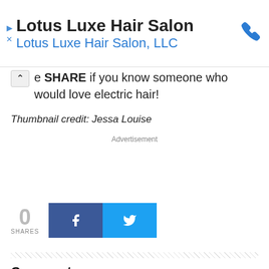[Figure (screenshot): Advertisement banner for Lotus Luxe Hair Salon with phone icon]
Please SHARE if you know someone who would love electric hair!
Thumbnail credit: Jessa Louise
Advertisement
[Figure (infographic): Social share buttons: 0 SHARES, Facebook button, Twitter button]
Comments